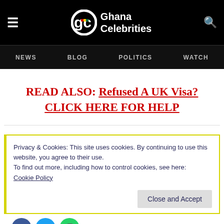Ghana Celebrities
NEWS  BLOG  POLITICS  WATCH
READ ALSO: Refused A UK Visa? CLICK HERE FOR HELP
Privacy & Cookies: This site uses cookies. By continuing to use this website, you agree to their use.
To find out more, including how to control cookies, see here:
Cookie Policy
Close and Accept